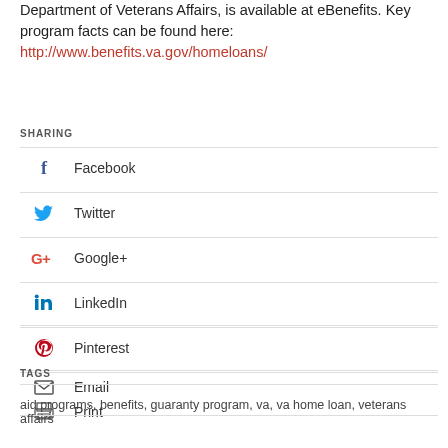Department of Veterans Affairs, is available at eBenefits. Key program facts can be found here: http://www.benefits.va.gov/homeloans/
SHARING
Facebook
Twitter
Google+
LinkedIn
Pinterest
Email
Print
TAGS
aid programs, benefits, guaranty program, va, va home loan, veterans affairs